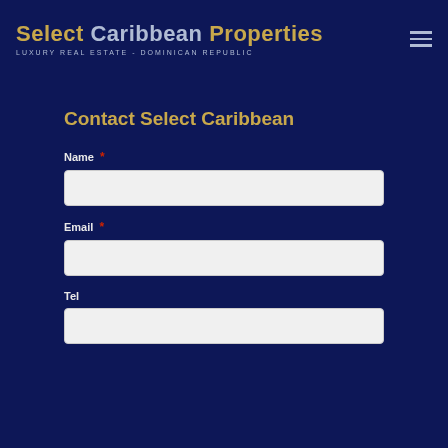Select Caribbean Properties — LUXURY REAL ESTATE - DOMINICAN REPUBLIC
Contact Select Caribbean
Name *
Email *
Tel